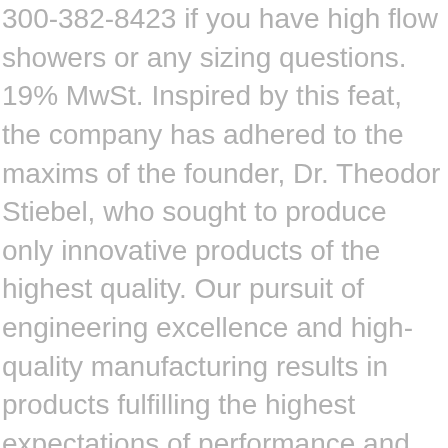300-382-8423 if you have high flow showers or any sizing questions. 19% MwSt. Inspired by this feat, the company has adhered to the maxims of the founder, Dr. Theodor Stiebel, who sought to produce only innovative products of the highest quality. Our pursuit of engineering excellence and high-quality manufacturing results in products fulfilling the highest expectations of performance and reliability. They excel at supplying water at a constant temperature but the model must be carefully matched to the flow rate of the sink to operate properly. They heat water instantaneously and endlessly at 99% efficiency as it flows through the unit. 188,19 € 250,09 € inkl. We stock a full line of Stiebel Eltron Tempra series in our British Columbia, Canada warehouse located at: #5 – 1490 Pearson Pl. 35, 45, 55 ºC Intelligent self-modulating technology continually ensures the least amount of energy is used to heat the water. Because they do not store hot water like tank water heaters, they